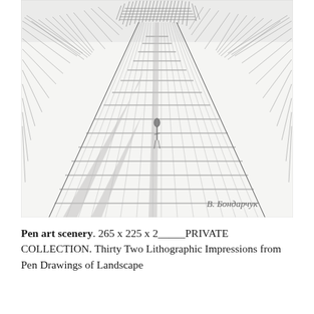[Figure (illustration): A pen and ink sketch showing a perspective view of a wooden boardwalk or bridge extending into the distance, flanked by dense vegetation or trees rendered with hatching lines. The scene recedes to a vanishing point with a figure visible in the middle distance. Signed in Cyrillic 'В. Бондарчук' in the lower right corner.]
Pen art scenery. 265 x 225 x 2_____PRIVATE COLLECTION. Thirty Two Lithographic Impressions from Pen Drawings of Landscape